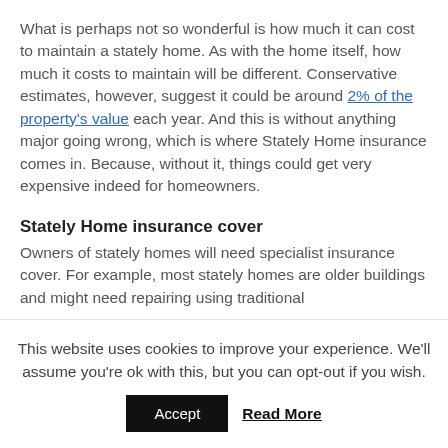What is perhaps not so wonderful is how much it can cost to maintain a stately home. As with the home itself, how much it costs to maintain will be different. Conservative estimates, however, suggest it could be around 2% of the property's value each year. And this is without anything major going wrong, which is where Stately Home insurance comes in. Because, without it, things could get very expensive indeed for homeowners.
Stately Home insurance cover
Owners of stately homes will need specialist insurance cover. For example, most stately homes are older buildings and might need repairing using traditional building methods if the building is damaged. In that situation...
This website uses cookies to improve your experience. We'll assume you're ok with this, but you can opt-out if you wish.